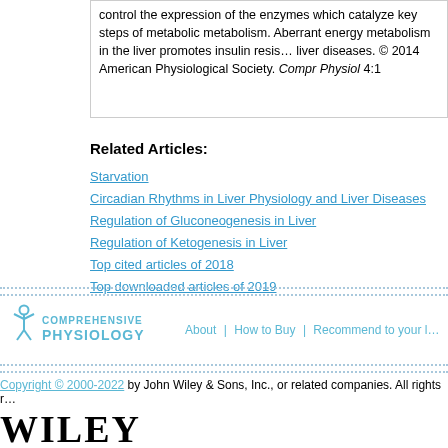control the expression of the enzymes which catalyze key steps of metabolism. Aberrant energy metabolism in the liver promotes insulin resistance and liver diseases. © 2014 American Physiological Society. Compr Physiol 4:1
Related Articles:
Starvation
Circadian Rhythms in Liver Physiology and Liver Diseases
Regulation of Gluconeogenesis in Liver
Regulation of Ketogenesis in Liver
Top cited articles of 2018
Top downloaded articles of 2019
About | How to Buy | Recommend to your library
Copyright © 2000-2022 by John Wiley & Sons, Inc., or related companies. All rights reserved.
[Figure (logo): Comprehensive Physiology logo with stylized figure and text, and Wiley logo at bottom]